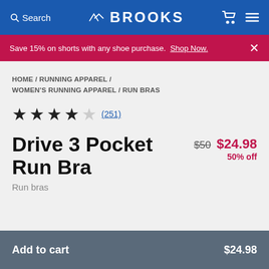Search  BROOKS
Save 15% on shorts with any shoe purchase. Shop Now.
HOME / RUNNING APPAREL / WOMEN'S RUNNING APPAREL / RUN BRAS
★★★★☆ (251)
Drive 3 Pocket Run Bra
$50  $24.98  50% off
Run bras
Add to cart  $24.98